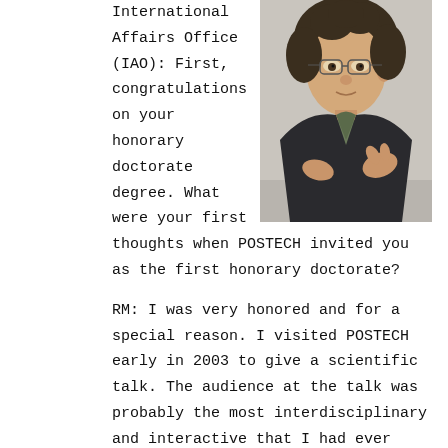International Affairs Office (IAO): First, congratulations on your honorary doctorate degree. What were your first thoughts when POSTECH invited you as the first honorary doctorate?
[Figure (photo): Portrait photo of a man with curly hair wearing glasses and a dark jacket, gesturing with his hands]
RM: I was very honored and for a special reason. I visited POSTECH early in 2003 to give a scientific talk. The audience at the talk was probably the most interdisciplinary and interactive that I had ever experienced. There were physicist, chemists, engineers and biologists and they all seemed interested in hearing about the electrical system of living organisms. Many very good discussions with the audience occurred during the last two hours of